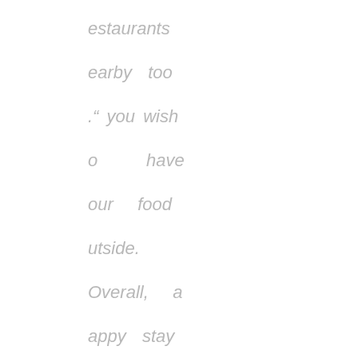estaurants earby too. If you wish to have your food outside. Overall, a happy stay of four days.
[Figure (other): 4.5 star rating shown as 4 full gold stars and 1 half gold star]